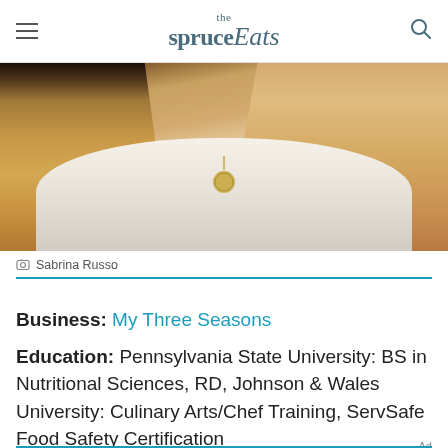the spruce Eats
[Figure (photo): Portrait photo of a woman with long blonde hair wearing a white ribbed top and a cream-colored jacket with a gold coin necklace]
Sabrina Russo
Business: My Three Seasons
Education: Pennsylvania State University: BS in Nutritional Sciences, RD, Johnson & Wales University: Culinary Arts/Chef Training, ServSafe Food Safety Certification